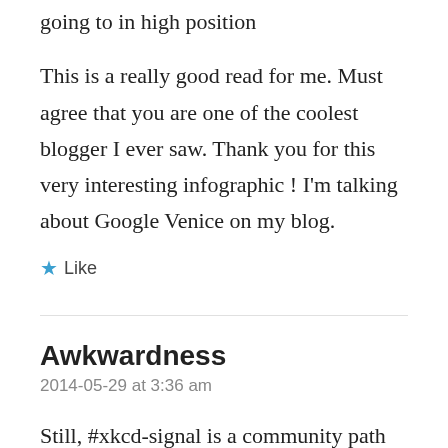going to in high position
This is a really good read for me. Must agree that you are one of the coolest blogger I ever saw. Thank you for this very interesting infographic ! I'm talking about Google Venice on my blog.
★ Like
Awkwardness
2014-05-29 at 3:36 am
Still, #xkcd-signal is a community path — if you just want to execute actions with the moderator/concept, please use #moderator-